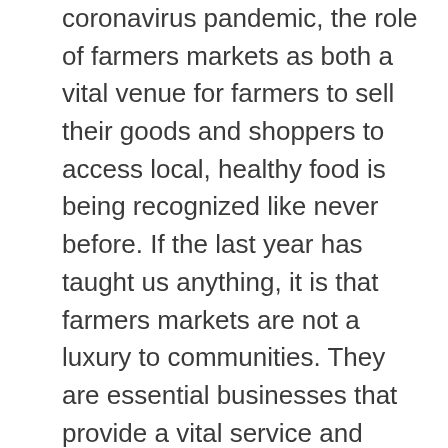coronavirus pandemic, the role of farmers markets as both a vital venue for farmers to sell their goods and shoppers to access local, healthy food is being recognized like never before. If the last year has taught us anything, it is that farmers markets are not a luxury to communities. They are essential businesses that provide a vital service and should be celebrated. To recognize the vital role farmers markets have played during the coronavirus pandemic, AFT is pleased to announce that we've increased the total cash prizes for the markets that finish in the top three of the